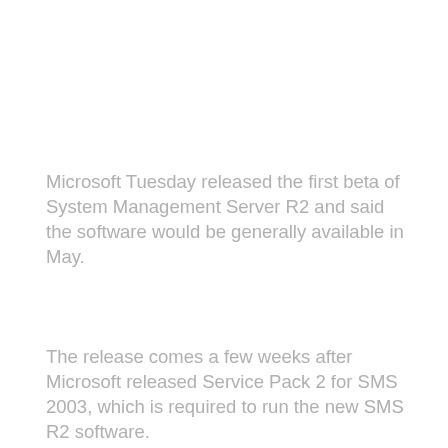Microsoft Tuesday released the first beta of System Management Server R2 and said the software would be generally available in May.
The release comes a few weeks after Microsoft released Service Pack 2 for SMS 2003, which is required to run the new SMS R2 software.
SMS R2 includes two prominent features, a new catalog service that will let users download third-party patches directly into SMS and a new vulnerability-scanning engine to discover misconfigured software.
SMS is one of two cornerstone tools Microsoft is